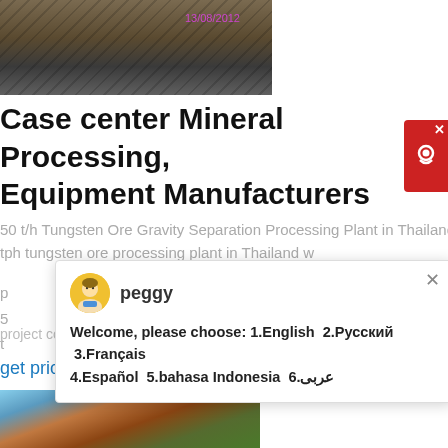[Figure (photo): Photo of mining/mineral processing equipment, metal frame structure outdoors with timestamp 13/08/2012]
Case center Mineral Processing, Equipment Manufacturers
50 t/h Tungsten Ore Gravity Separation Processing Plant in Thailand. 50 tph tungsten ore processing plant in Thailand w... p... 5... t...
project contracted by Hengchang Mining Machinery. >
get price
[Figure (photo): Photo of mineral processing plant equipment with crane and conveyor belts on a hillside]
[Figure (screenshot): Chat popup from peggy: Welcome, please choose: 1.English 2.Русский 3.Français 4.Español 5.bahasa Indonesia 6.عربی]